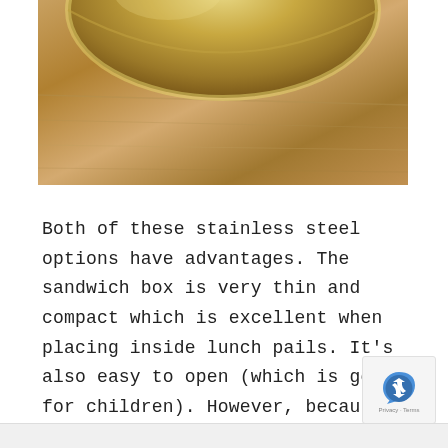[Figure (photo): Close-up photo of the bottom of a stainless steel bowl or container sitting on a wooden surface. The bowl appears golden/metallic and the wooden table beneath has natural wood grain texture.]
Both of these stainless steel options have advantages. The sandwich box is very thin and compact which is excellent when placing inside lunch pails. It's also easy to open (which is good for children). However, because it's so thin, my fat turkey sandwich didn't fit inside it very well. If you pack a stuffed sandwich, this may not be the right size for you. Because this option doesn't stay closed quite as well, you may want to put a rubber band around it to hold it together.